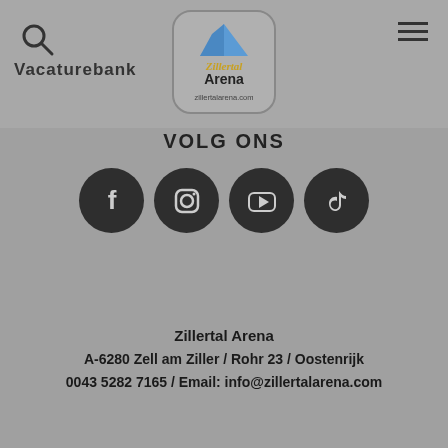Vacaturebank
[Figure (logo): Zillertal Arena logo with rounded rectangle border and zillertalarena.com text]
VOLG ONS
[Figure (infographic): Four social media icons in dark circles: Facebook, Instagram, YouTube, TikTok]
Zillertal Arena
A-6280 Zell am Ziller / Rohr 23 / Oostenrijk
0043 5282 7165 / Email: info@zillertalarena.com